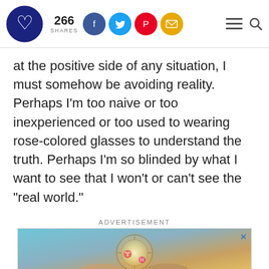266 SHARES [social icons: Facebook, Twitter, Pinterest, Email] [hamburger menu] [search]
at the positive side of any situation, I must somehow be avoiding reality. Perhaps I'm too naive or too inexperienced or too used to wearing rose-colored glasses to understand the truth. Perhaps I'm so blinded by what I want to see that I won't or can't see the "real world."
ADVERTISEMENT
[Figure (photo): Advertisement banner showing a compass/astrology wheel with bright light in the center, held by hands, with a blue/gold background.]